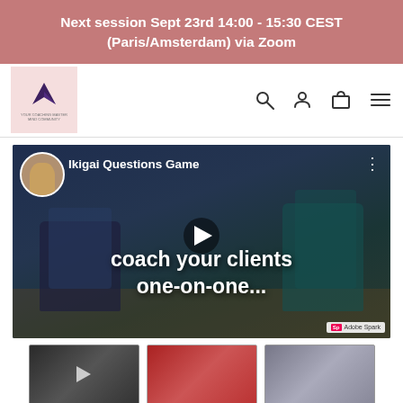Next session Sept 23rd 14:00 - 15:30 CEST (Paris/Amsterdam) via Zoom
[Figure (logo): Brand logo with purple bird/arrow icon on pink background with small text below]
[Figure (screenshot): YouTube-style video thumbnail showing two people in chairs in a coaching session. Title overlay reads 'coach your clients one-on-one...' with a play button. Top-left shows circular person inset and 'Ikigai Questions Game' text. Bottom-right shows 'Sp Adobe Spark' watermark.]
[Figure (screenshot): Small video thumbnail 1 - dark/greyscale]
[Figure (screenshot): Small video thumbnail 2 - reddish tones]
[Figure (screenshot): Small video thumbnail 3 - group photo]